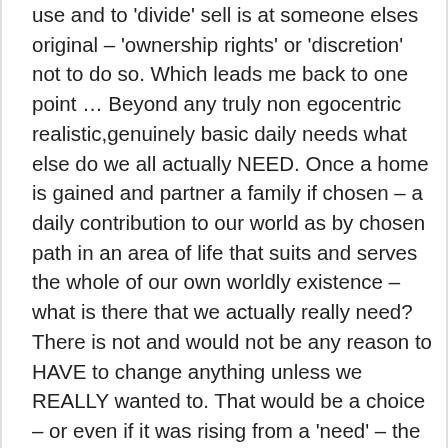use and to 'divide' sell is at someone elses original – 'ownership rights' or 'discretion' not to do so. Which leads me back to one point … Beyond any truly non egocentric realistic,genuinely basic daily needs what else do we all actually NEED. Once a home is gained and partner a family if chosen – a daily contribution to our world as by chosen path in an area of life that suits and serves the whole of our own worldly existence – what is there that we actually really need? There is not and would not be any reason to HAVE to change anything unless we REALLY wanted to. That would be a choice – or even if it was rising from a 'need' – the point – we are all looking for an easy way to make money – a home is like GST no escape but it is also different, we all